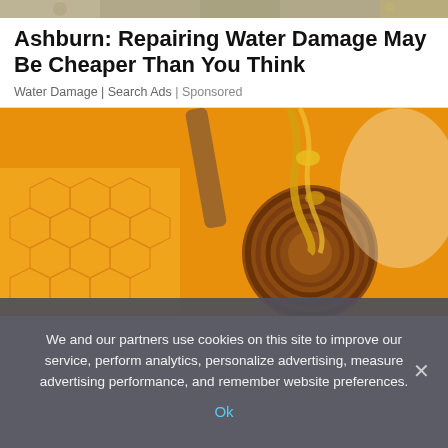[Figure (photo): Partial top strip showing a decorative background image (blurred, muted tones)]
Ashburn: Repairing Water Damage May Be Cheaper Than You Think
Water Damage | Search Ads | Sponsored
[Figure (photo): Close-up photo of a wooden honey dipper dripping golden honey over a honeycomb, warm amber tones]
We and our partners use cookies on this site to improve our service, perform analytics, personalize advertising, measure advertising performance, and remember website preferences.